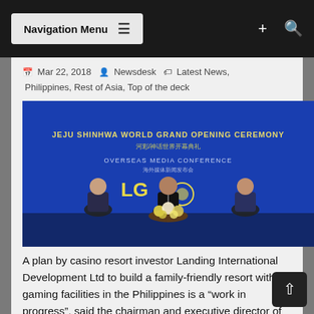Navigation Menu
Mar 22, 2018   Newsdesk   Latest News, Philippines, Rest of Asia, Top of the deck
[Figure (photo): Jeju Shinhwa World Grand Opening Ceremony – Overseas Media Conference. Three men seated on stage in front of a blue backdrop with event signage. The centre man speaks at a microphone, a floral arrangement on the table in front of them.]
A plan by casino resort investor Landing International Development Ltd to build a family-friendly resort with gaming facilities in the Philippines is a “work in progress”, said the chairman and executive director of the Hong Kong-listed firm, Yang Zhihui (pictured centre). Mr Yang’s firm is the promoter of the